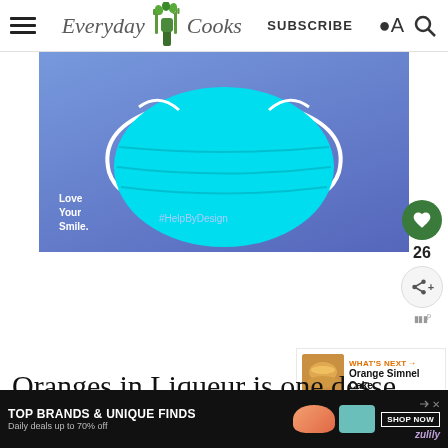Everyday Cooks | SUBSCRIBE
[Figure (illustration): Blue background advertisement banner showing a cyan/turquoise surgical mask with white ear loops. Text reads 'Love Your Smile.' and '#HelpByDesign']
[Figure (infographic): Sidebar with green heart icon showing 26, share icon, and print icon]
[Figure (photo): Small thumbnail image of Orange Simnel Cake with 'WHAT'S NEXT' label]
Oranges in Liqueur is one desse pull out of my old recipe book when s ea
[Figure (advertisement): Bottom banner ad: TOP BRANDS & UNIQUE FINDS - Daily deals up to 70% off - SHOP NOW - zulily]